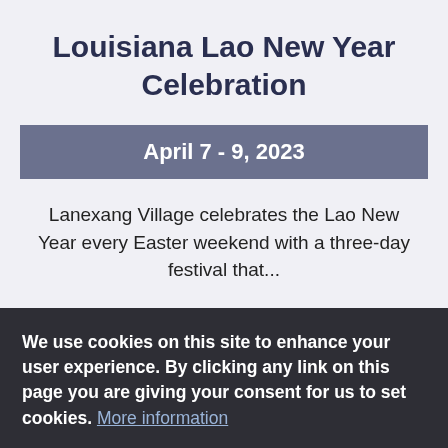Louisiana Lao New Year Celebration
April 7 - 9, 2023
Lanexang Village celebrates the Lao New Year every Easter weekend with a three-day festival that...
We use cookies on this site to enhance your user experience. By clicking any link on this page you are giving your consent for us to set cookies. More information
Got It